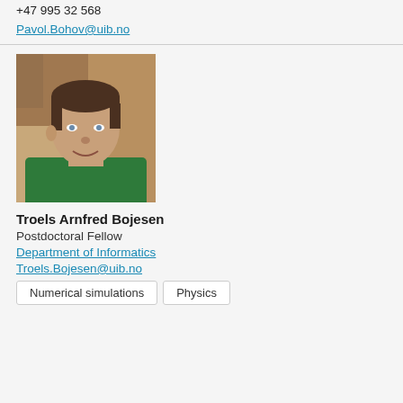+47 995 32 568
Pavol.Bohov@uib.no
[Figure (photo): Profile photo of Troels Arnfred Bojesen, a man with dark hair wearing a green shirt, photographed indoors]
Troels Arnfred Bojesen
Postdoctoral Fellow
Department of Informatics
Troels.Bojesen@uib.no
Numerical simulations
Physics